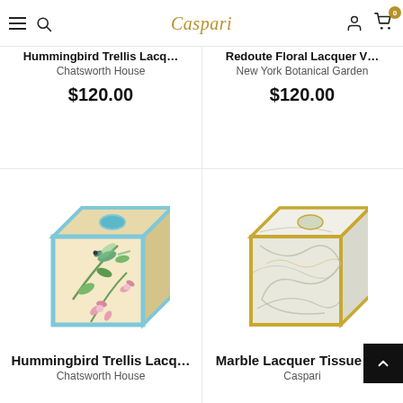Caspari — navigation header with hamburger menu, search, logo, user icon, cart (0)
Hummingbird Trellis Lacq...
Chatsworth House
$120.00
Redoute Floral Lacquer V...
New York Botanical Garden
$120.00
[Figure (photo): Hummingbird Trellis lacquer tissue box cover with blue border, tropical floral hummingbird design on cream/peach background]
[Figure (photo): Marble Lacquer Tissue Box cover with gold trim, swirling marble pattern in cream and light grey]
Hummingbird Trellis Lacq...
Chatsworth House
Marble Lacquer Tissue B...
Caspari